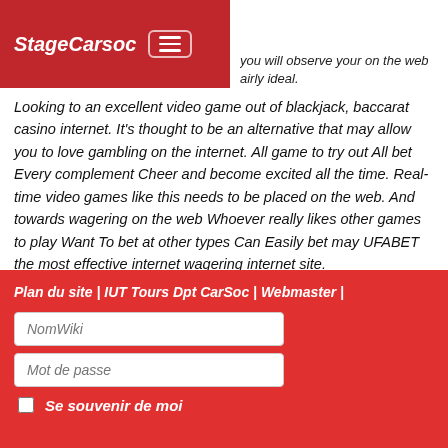StageCarsoc
you will observe your on the web fairly ideal.
Looking to an excellent video game out of blackjack, baccarat casino internet. It's thought to be an alternative that may allow you to love gambling on the internet. All game to try out All bet Every complement Cheer and become excited all the time. Real-time video games like this needs to be placed on the web. And towards wagering on the web Whoever really likes other games to play Want To bet at other types Can Easily bet may UFABET the most effective internet wagering internet site.
✎ Éditer la page  📅 Modifiée le : 10.01.2022 à 00:52:06
ℹ Références  ▥ Diaporama ▲  ↺ Partager
Plan du site | IUT Tours Dpt CarSoc | Webmaster |
NomWiki
Mot de passe
Se souvenir de moi